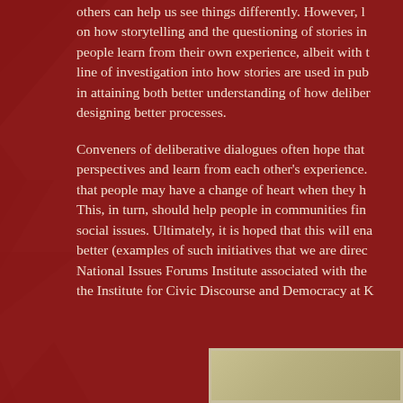others can help us see things differently. However, l... on how storytelling and the questioning of stories in... people learn from their own experience, albeit with t... line of investigation into how stories are used in pub... in attaining both better understanding of how deliber... designing better processes.
Conveners of deliberative dialogues often hope that ... perspectives and learn from each other's experience.... that people may have a change of heart when they h... This, in turn, should help people in communities fin... social issues. Ultimately, it is hoped that this will en... better (examples of such initiatives that we are direc... National Issues Forums Institute associated with the ... the Institute for Civic Discourse and Democracy at K...
[Figure (photo): Partial view of a photograph at the bottom right of the page, showing an outdoor or landscape scene with muted tan/green tones.]